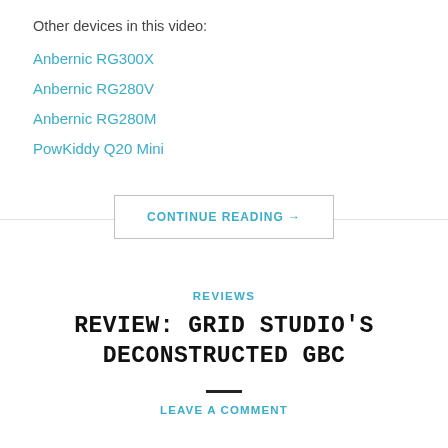Other devices in this video:
Anbernic RG300X
Anbernic RG280V
Anbernic RG280M
PowKiddy Q20 Mini
CONTINUE READING →
REVIEWS
REVIEW: GRID STUDIO'S DECONSTRUCTED GBC
LEAVE A COMMENT